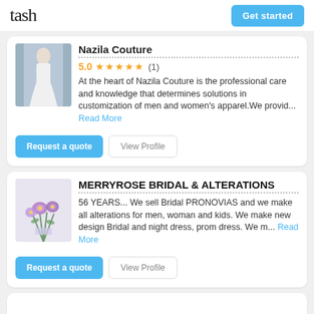tash | Get started
Nazila Couture
5.0 ★★★★★ (1)
At the heart of Nazila Couture is the professional care and knowledge that determines solutions in customization of men and women's apparel.We provid... Read More
Request a quote | View Profile
MERRYROSE BRIDAL & ALTERATIONS
56 YEARS... We sell Bridal PRONOVIAS and we make all alterations for men, woman and kids. We make new design Bridal and night dress, prom dress. We m... Read More
Request a quote | View Profile